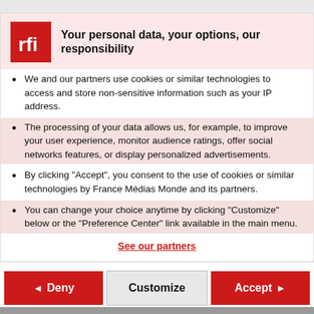[Figure (logo): RFI logo — white letters 'rfi' on red square background]
Your personal data, your options, our responsibility
We and our partners use cookies or similar technologies to access and store non-sensitive information such as your IP address.
The processing of your data allows us, for example, to improve your user experience, monitor audience ratings, offer social networks features, or display personalized advertisements.
By clicking "Accept", you consent to the use of cookies or similar technologies by France Médias Monde and its partners.
You can change your choice anytime by clicking "Customize" below or the "Preference Center" link available in the main menu.
See our partners
We and our partners do the following data processing based on your consent:  store and/or access information on a device, personalised ads and content, ad and content measurement, audience insights and product development